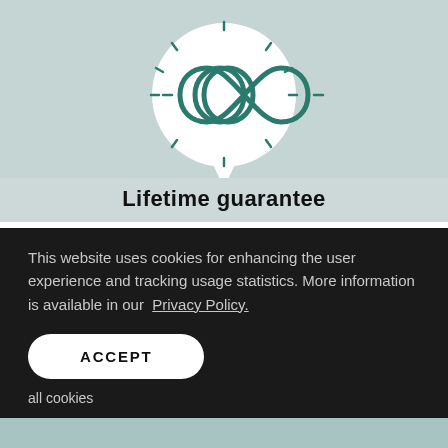[Figure (illustration): Speech bubble icon with infinity symbol inside, on a light teal/mint background]
Lifetime guarantee
This website uses cookies for enhancing the user experience and tracking usage statistics. More information is available in our Privacy Policy.
ACCEPT
all cookies
DECLINE
cookies which are not mandatory for the full operation of the website